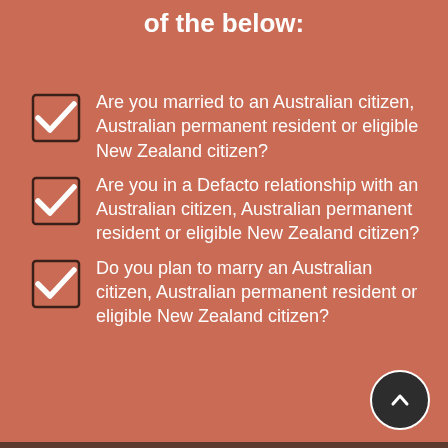of the below:
Are you married to an Australian citizen, Australian permanent resident or eligible New Zealand citizen?
Are you in a Defacto relationship with an Australian citizen, Australian permanent resident or eligible New Zealand citizen?
Do you plan to marry an Australian citizen, Australian permanent resident or eligible New Zealand citizen?